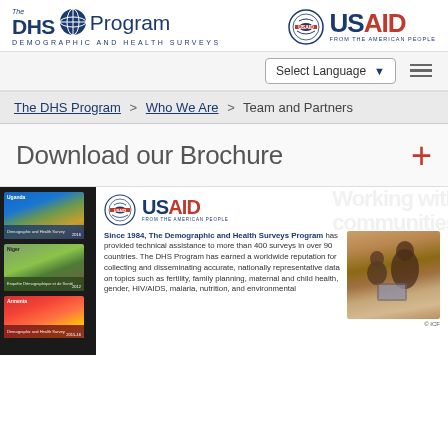[Figure (logo): The DHS Program logo with globe icon and 'Demographic and Health Surveys' subtitle]
[Figure (logo): USAID From the American People logo with circular seal]
[Figure (screenshot): Select Language dropdown and hamburger menu]
The DHS Program > Who We Are > Team and Partners
Download our Brochure +
[Figure (photo): Thumbnails of DHS survey brochures: Uganda, Niger, Armenia]
[Figure (logo): USAID From the American People logo (mid-page)]
Since 1984, The Demographic and Health Surveys Program has provided technical assistance to more than 400 surveys in over 90 countries. The DHS Program has earned a worldwide reputation for collecting and disseminating accurate, nationally representative data on topics such as fertility, family planning, maternal and child health, gender, HIV/AIDS, malaria, nutrition, and environmental
[Figure (photo): Photo of two women sitting and working with a laptop, © ICF]